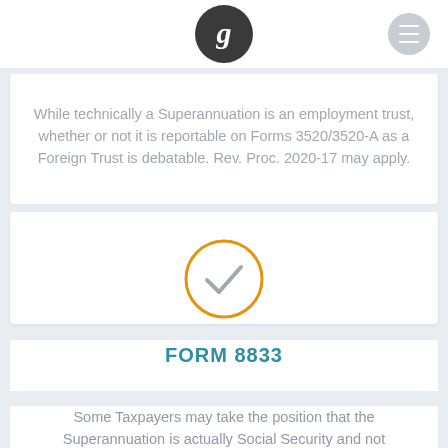[Figure (logo): Golding & Associates logo: dark circle with white italic 'g', plus grey circle menu icon on the right]
While technically a Superannuation is an employment trust, whether or not it is reportable on Forms 3520/3520-A as a Foreign Trust is debatable. Rev. Proc. 2020-17 may apply.
[Figure (other): Orange outlined circle with a grey checkmark inside]
FORM 8833
Some Taxpayers may take the position that the Superannuation is actually Social Security and not reportable. Therefore, Form 8833 is essentially...